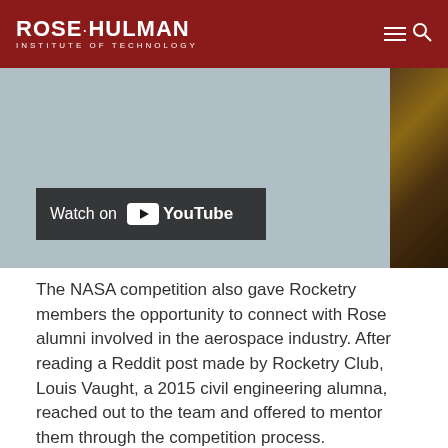ROSE-HULMAN INSTITUTE OF TECHNOLOGY
[Figure (screenshot): YouTube video thumbnail showing a grey sky scene on the left and a plowed field on the right, with a 'Watch on YouTube' badge overlay at the bottom left]
The NASA competition also gave Rocketry members the opportunity to connect with Rose alumni involved in the aerospace industry. After reading a Reddit post made by Rocketry Club, Louis Vaught, a 2015 civil engineering alumna, reached out to the team and offered to mentor them through the competition process.
Additionally, they learned valuable lessons from the process, which they believe, will guide them toward a win in next year's Student Launch Project. Travel and operational costs are high, so the team is also trying to raise funds to support its efforts. Contributions can be